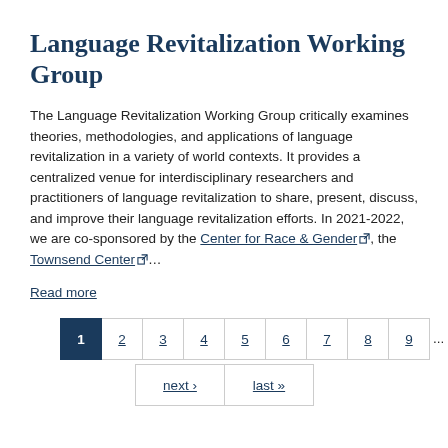Language Revitalization Working Group
The Language Revitalization Working Group critically examines theories, methodologies, and applications of language revitalization in a variety of world contexts. It provides a centralized venue for interdisciplinary researchers and practitioners of language revitalization to share, present, discuss, and improve their language revitalization efforts. In 2021-2022, we are co-sponsored by the Center for Race & Gender, the Townsend Center ...
Read more
1 2 3 4 5 6 7 8 9 ... next › last »